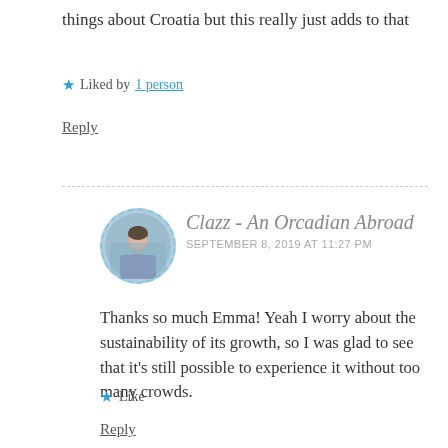things about Croatia but this really just adds to that
★ Liked by 1 person
Reply
Clazz - An Orcadian Abroad
SEPTEMBER 8, 2019 AT 11:27 PM
Thanks so much Emma! Yeah I worry about the sustainability of its growth, so I was glad to see that it's still possible to experience it without too many crowds.
★ Like
Reply